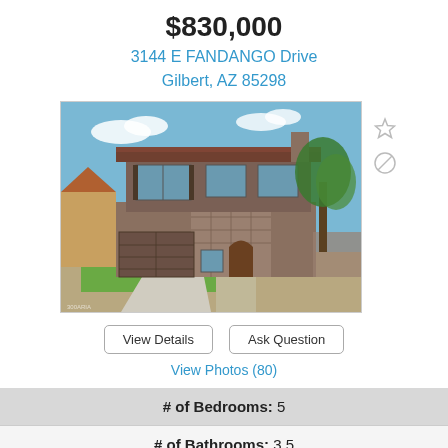$830,000
3144 E FANDANGO Drive
Gilbert, AZ 85298
[Figure (photo): Two-story residential home with stone and stucco exterior, three-car garage, brick driveway, green front lawn, and desert landscaping. Blue sky with clouds in background.]
View Details
Ask Question
View Photos (80)
# of Bedrooms: 5
# of Bathrooms: 3.5